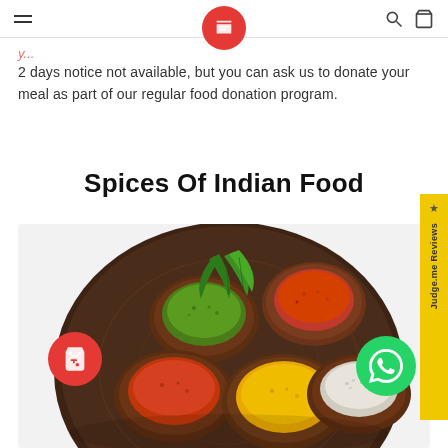[Navigation bar with hamburger menu, logo, search and cart icons]
2 days notice not available, but you can ask us to donate your meal as part of our regular food donation program.
Spices Of Indian Food
[Figure (photo): Overhead photograph of various Indian spices in wooden bowls arranged on a dark wooden plate/board, including red chili powder, green herbs, turmeric, and other colorful spices, with fresh green leaves in the center.]